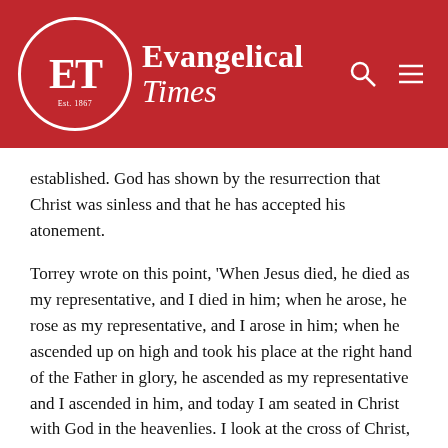Evangelical Times
established. God has shown by the resurrection that Christ was sinless and that he has accepted his atonement.
Torrey wrote on this point, ‘When Jesus died, he died as my representative, and I died in him; when he arose, he rose as my representative, and I arose in him; when he ascended up on high and took his place at the right hand of the Father in glory, he ascended as my representative and I ascended in him, and today I am seated in Christ with God in the heavenlies. I look at the cross of Christ, and I know that atonement has been made for my sins; I look at the open sepulchre and [obscured]ed Lord, and I know the atonement has been [obscured] longer remains a single sin on me, no matter how many or how